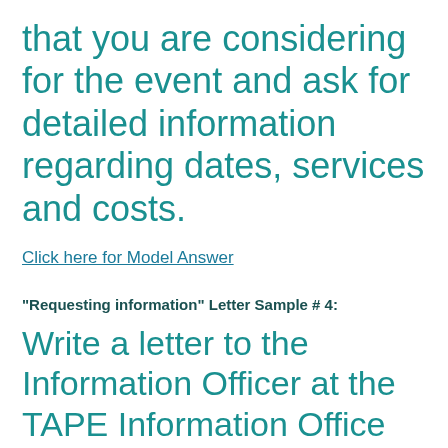that you are considering for the event and ask for detailed information regarding dates, services and costs.
Click here for Model Answer
"Requesting information" Letter Sample # 4:
Write a letter to the Information Officer at the TAPE Information Office asking for information about the Tertiary Preparation Certificate.
Describe your educational background and your